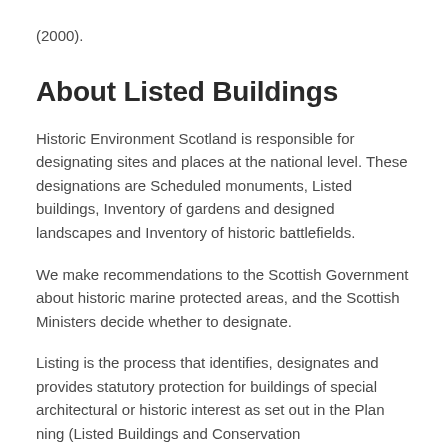(2000).
About Listed Buildings
Historic Environment Scotland is responsible for designating sites and places at the national level. These designations are Scheduled monuments, Listed buildings, Inventory of gardens and designed landscapes and Inventory of historic battlefields.
We make recommendations to the Scottish Government about historic marine protected areas, and the Scottish Ministers decide whether to designate.
Listing is the process that identifies, designates and provides statutory protection for buildings of special architectural or historic interest as set out in the Planning (Listed Buildings and Conservation Areas) (Scotland) Act